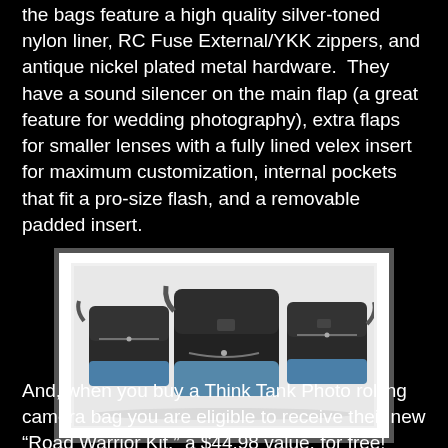the bags feature a high quality silver-toned nylon liner, RC Fuse External/YKK zippers, and antique nickel plated metal hardware.  They have a sound silencer on the main flap (a great feature for wedding photography), extra flaps for smaller lenses with a fully lined velex insert for maximum customization, internal pockets that fit a pro-size flash, and a removable padded insert.
[Figure (photo): Three black and blue camera messenger bags of different sizes arranged together against a white background.]
And, when you buy a Think Tank Photo rolling camera bag you are eligible to receive their new “Road Warrior Kit,” a $44.98 value, for free!  The kit consists of ten Road Whip carabiner, Gobble Monster 13 and